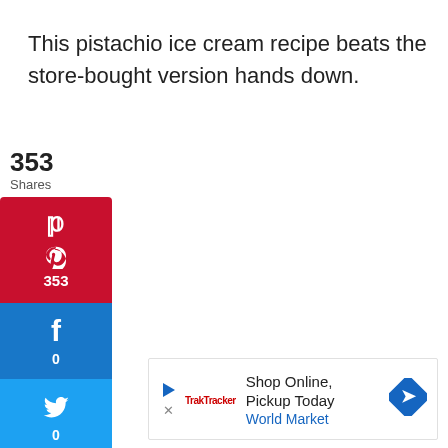This pistachio ice cream recipe beats the store-bought version hands down.
353
Shares
[Figure (infographic): Social share buttons: Pinterest (353 shares), Facebook (0), Twitter (0), and a More (+) button]
[Figure (infographic): Advertisement banner: Shop Online, Pickup Today - World Market with play button, close button, and diamond arrow icon]